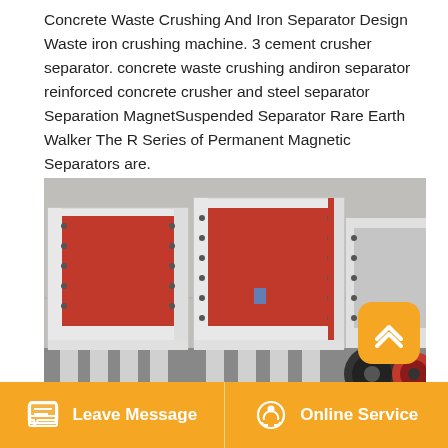Concrete Waste Crushing And Iron Separator Design Waste iron crushing machine. 3 cement crusher separator. concrete waste crushing andiron separator reinforced concrete crusher and steel separator Separation MagnetSuspended Separator Rare Earth Walker The R Series of Permanent Magnetic Separators are.
[Figure (photo): Industrial concrete waste crushing machines with red interior chambers, white exterior with bolt holes, black rubber wheels/pulleys, photographed in a warehouse/factory setting.]
Leave Message
Online Service